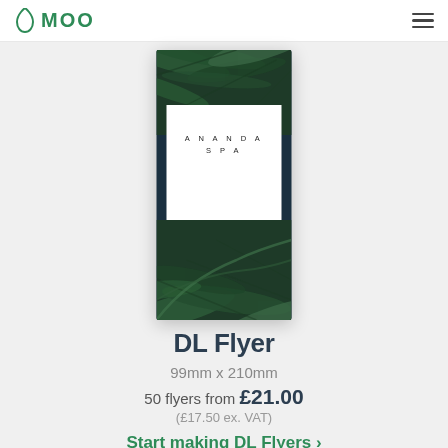MOO
[Figure (illustration): A DL Flyer product mockup showing an 'Ananda Spa' flyer with dark fern/leaf background and white panel in the center displaying 'ANANDA SPA' text with address details below.]
DL Flyer
99mm x 210mm
50 flyers from £21.00
(£17.50 ex. VAT)
Start making DL Flyers ›